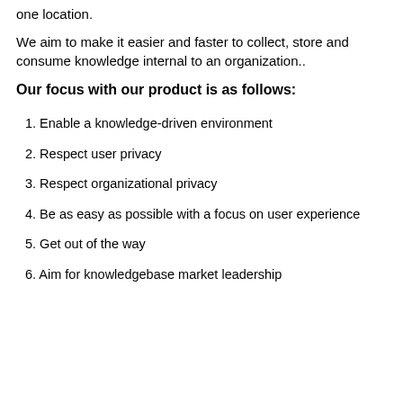one location.
We aim to make it easier and faster to collect, store and consume knowledge internal to an organization..
Our focus with our product is as follows:
1. Enable a knowledge-driven environment
2. Respect user privacy
3. Respect organizational privacy
4. Be as easy as possible with a focus on user experience
5. Get out of the way
6. Aim for knowledgebase market leadership